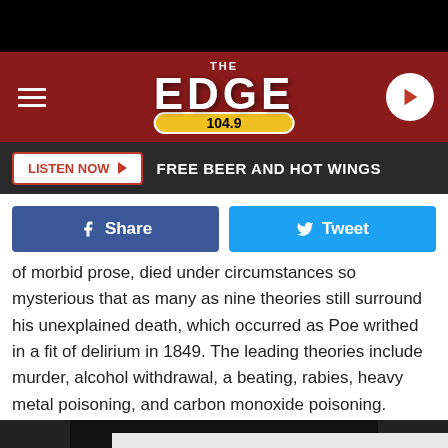[Figure (screenshot): The Edge 104.9 radio station website header with logo on dark red background, hamburger menu on left, play button on right]
LISTEN NOW ▶   FREE BEER AND HOT WINGS
[Figure (infographic): Facebook Share button (blue) and Twitter Tweet button (light blue)]
of morbid prose, died under circumstances so mysterious that as many as nine theories still surround his unexplained death, which occurred as Poe writhed in a fit of delirium in 1849. The leading theories include murder, alcohol withdrawal, a beating, rabies, heavy metal poisoning, and carbon monoxide poisoning. According to Smithsonian Magazine, however, it was probably something much less siniste...